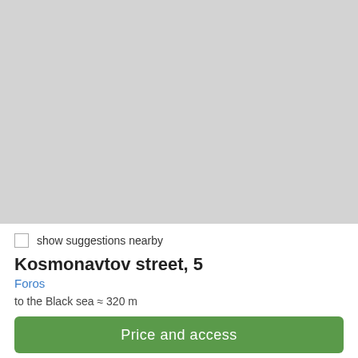[Figure (map): Gray placeholder map area showing a location map]
show suggestions nearby
Kosmonavtov street, 5
Foros
to the Black sea ≈ 320 m
Price and access